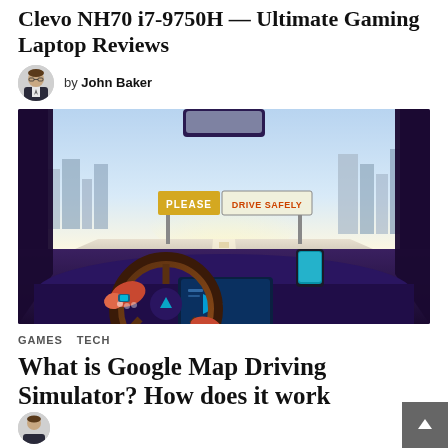Clevo NH70 i7-9750H — Ultimate Gaming Laptop Reviews
by John Baker
[Figure (illustration): Cartoon illustration of a car interior dashboard view showing steering wheel, infotainment screen, phone mount, and a road sign reading 'PLEASE DRIVE SAFELY' visible through the windshield.]
GAMES   TECH
What is Google Map Driving Simulator? How does it work